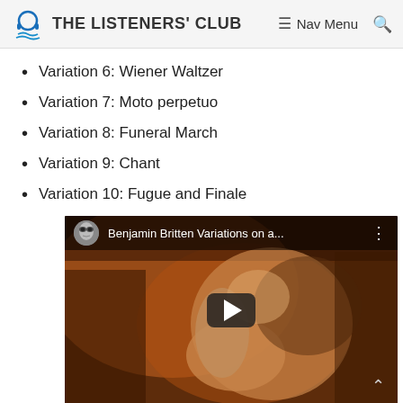THE LISTENERS' CLUB — Nav Menu
Variation 6: Wiener Waltzer
Variation 7: Moto perpetuo
Variation 8: Funeral March
Variation 9: Chant
Variation 10: Fugue and Finale
[Figure (screenshot): YouTube video thumbnail showing a painting of a man with the title 'Benjamin Britten Variations on a...' with a play button overlay and alien avatar icon.]